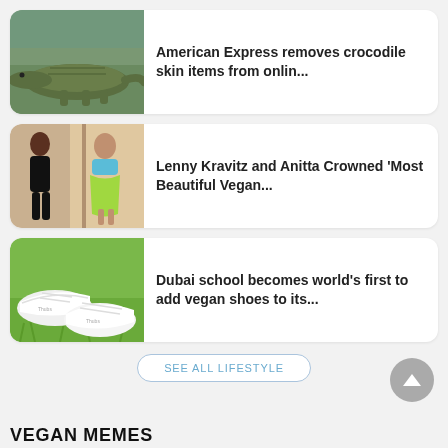[Figure (photo): Photo of a crocodile resting near water]
American Express removes crocodile skin items from onlin...
[Figure (photo): Photo of two people in fashionable outfits]
Lenny Kravitz and Anitta Crowned 'Most Beautiful Vegan...
[Figure (photo): Photo of white vegan sneakers on grass]
Dubai school becomes world's first to add vegan shoes to its...
SEE ALL LIFESTYLE
VEGAN MEMES